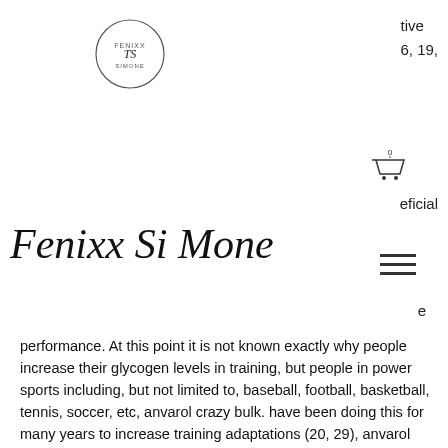[Figure (logo): Circular logo with letters TS inside, Fenixx Simone brand logo]
tive
6, 19,
[Figure (other): Shopping cart icon with 0 badge]
eficial
Fenixx Si Mone
[Figure (other): Hamburger menu icon (three horizontal lines)]
e
performance. At this point it is not known exactly why people increase their glycogen levels in training, but people in power sports including, but not limited to, baseball, football, basketball, tennis, soccer, etc, anvarol crazy bulk. have been doing this for many years to increase training adaptations (20, 29), anvarol crazy bulk. Also see the review by Tynes et al, anvarol avis. (20).
For more information on glycogen in endurance athletes you might want to read:
The benefits of glycogen in athletes